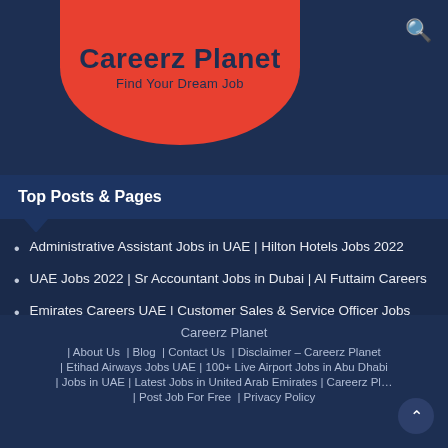Careerz Planet
Find Your Dream Job
Top Posts & Pages
Administrative Assistant Jobs in UAE | Hilton Hotels Jobs 2022
UAE Jobs 2022 | Sr Accountant Jobs in Dubai | Al Futtaim Careers
Emirates Careers UAE | Customer Sales & Service Officer Jobs
Accountant Jobs in Dubai UAE | DHL Jobs 2022
General Accountant Jobs in UAE | Hilton Hotels Jobs 2022
GEMS Founders School Jobs in Dubai | Admissions Secretary Jobs
Careerz Planet | About Us | Blog | Contact Us | Disclaimer – Careerz Planet | Etihad Airways Jobs UAE | 100+ Live Airport Jobs in Abu Dhabi | Jobs in UAE | Latest Jobs in United Arab Emirates | Careerz Planet | Post Job For Free | Privacy Policy